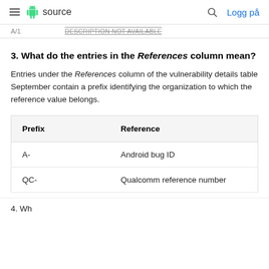≡ Android source  🔍  Logg på
A/1  DESCRIPTION NOT AVAILABLE
3. What do the entries in the References column mean?
Entries under the References column of the vulnerability details table September contain a prefix identifying the organization to which the reference value belongs.
| Prefix | Reference |
| --- | --- |
| A- | Android bug ID |
| QC- | Qualcomm reference number |
4. Wh...